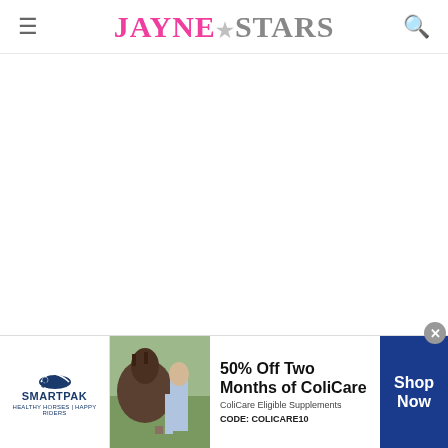Jayne Stars
Sources: On.cc, On.cc, On.cc
[Figure (other): SmartPak advertisement banner: 50% Off Two Months of ColiCare, ColiCare Eligible Supplements, CODE: COLICARE10, Shop Now button. Features SmartPak logo with horse, product image, and woman with horse photo.]